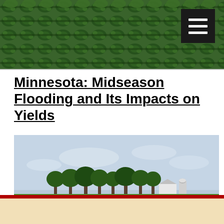[Figure (photo): Aerial view of rows of green crop plants in a farm field, viewed from above at angle]
Minnesota: Midseason Flooding and Its Impacts on Yields
[Figure (photo): Flooded agricultural field in Minnesota showing green crops partially submerged in standing water, with farm buildings and trees visible in the background on a slight rise of land]